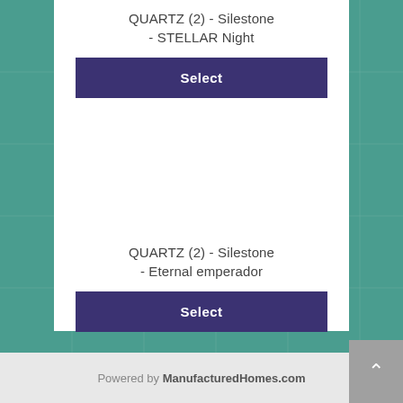QUARTZ (2) - Silestone - STELLAR Night
Select
QUARTZ (2) - Silestone - Eternal emperador
Select
Powered by ManufacturedHomes.com